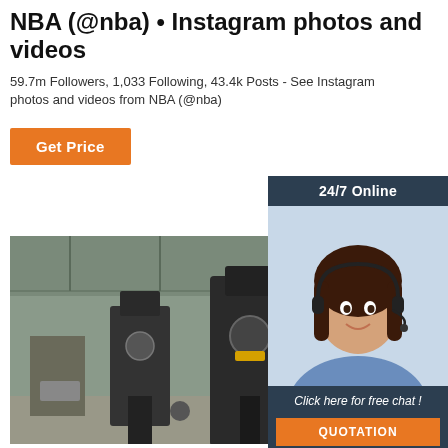NBA (@nba) • Instagram photos and videos
59.7m Followers, 1,033 Following, 43.4k Posts - See Instagram photos and videos from NBA (@nba)
Get Price
[Figure (infographic): 24/7 Online customer service widget with photo of woman with headset, 'Click here for free chat!' and QUOTATION button]
[Figure (photo): Factory floor with heavy industrial machinery, large black metal equipment in a warehouse]